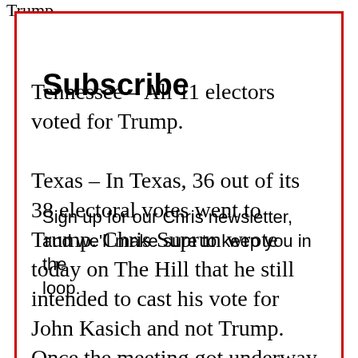Trump.
Tennessee – All 11 electors voted for Trump.
Subscribe
Texas – In Texas, 36 out of its 38 electoral votes went to Trump. Chris Suprun wrote today on The Hill that he still intended to cast his vote for John Kasich and not Trump. Once the meeting got underway, four electors resigned and then were re[placed]
Sign up for our Chris newsletter, and we'll make sure to keep you in the loop.
First Name
Promoted X
[Figure (photo): Group of women in yellow shirts holding cleaning supplies]
Cleaning Services For Seniors — You Won't Believe The Prices
🔥 6,035
[Figure (photo): Video thumbnail showing two people, with a play button overlay]
Democrats Want This Video Destroyed — Watch Now Before It's Banned
🔥 211,728